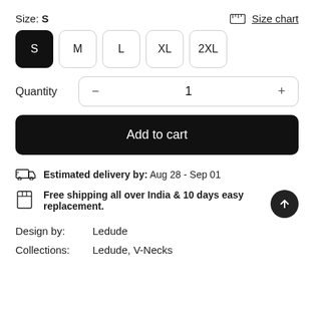Size: S
Size chart
S  M  L  XL  2XL
Quantity  -  1  +
Add to cart
Estimated delivery by:  Aug 28 - Sep 01
Free shipping all over India & 10 days easy replacement.
Design by:  Ledude
Collections:  Ledude, V-Necks